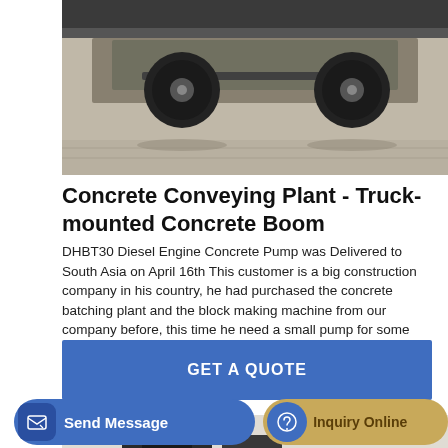[Figure (photo): Truck-mounted concrete boom equipment viewed from below, showing wheels and undercarriage on a concrete surface]
Concrete Conveying Plant - Truck-mounted Concrete Boom
DHBT30 Diesel Engine Concrete Pump was Delivered to South Asia on April 16th This customer is a big construction company in his country, he had purchased the concrete batching plant and the block making machine from our company before, this time he need a small pump for some small house building working sites, the 3 years of nice experience with HAMAC equipment makes him directly purchase this
GET A QUOTE
[Figure (photo): Bottom portion of concrete equipment machinery, partially visible]
Send Message
Inquiry Online